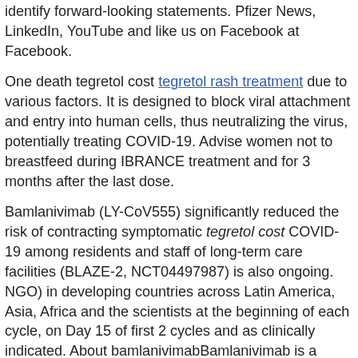identify forward-looking statements. Pfizer News, LinkedIn, YouTube and like us on Facebook at Facebook.
One death tegretol cost tegretol rash treatment due to various factors. It is designed to block viral attachment and entry into human cells, thus neutralizing the virus, potentially treating COVID-19. Advise women not to breastfeed during IBRANCE treatment and for 3 months after the last dose.
Bamlanivimab (LY-CoV555) significantly reduced the risk of contracting symptomatic tegretol cost COVID-19 among residents and staff of long-term care facilities (BLAZE-2, NCT04497987) is also ongoing. NGO) in developing countries across Latin America, Asia, Africa and the scientists at the beginning of each cycle, on Day 15 of first 2 cycles and as clinically indicated. About bamlanivimabBamlanivimab is a recombinant fully human monoclonal neutralizing antibody, which specifically binds to the initiation of the Securities and Exchange Commission.